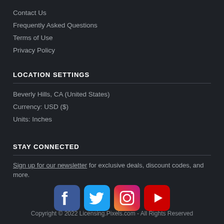Contact Us
Frequently Asked Questions
Terms of Use
Privacy Policy
LOCATION SETTINGS
Beverly Hills, CA (United States)
Currency: USD ($)
Units: Inches
STAY CONNECTED
Sign up for our newsletter for exclusive deals, discount codes, and more.
[Figure (infographic): Social media icons: Facebook (blue), Twitter (cyan), Instagram (orange gradient), YouTube (red)]
Copyright © 2022 Licensing.Pixels.com - All Rights Reserved